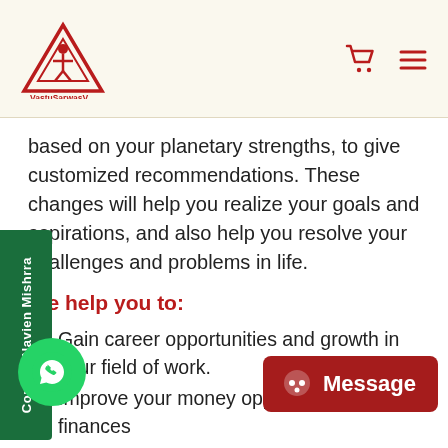VastuSarwasV logo with cart and menu icons
based on your planetary strengths, to give customized recommendations. These changes will help you realize your goals and aspirations, and also help you resolve your challenges and problems in life.
We help you to:
Gain career opportunities and growth in your field of work.
Improve your money opportunity and finances
Strengthening of relations within family, friends, and other required domains.
Help children learn better and perform at the best of their skills.
Reduce mental stress, anxiety of thought and increase the peace of mind,